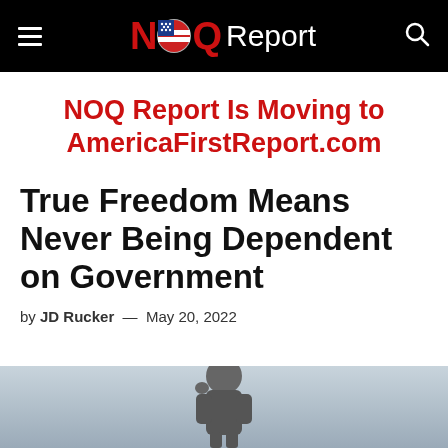NOQ Report
NOQ Report Is Moving to AmericaFirstReport.com
True Freedom Means Never Being Dependent on Government
by JD Rucker — May 20, 2022
[Figure (photo): Grayscale photograph of a person at the bottom of the page]